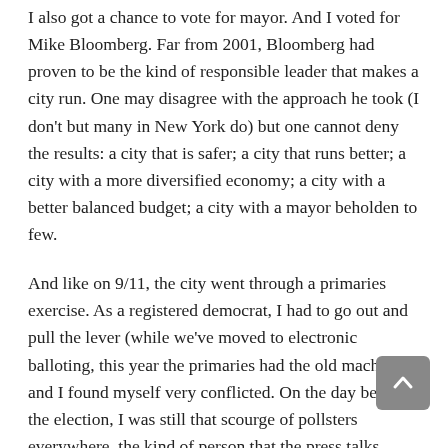I also got a chance to vote for mayor. And I voted for Mike Bloomberg. Far from 2001, Bloomberg had proven to be the kind of responsible leader that makes a city run. One may disagree with the approach he took (I don't but many in New York do) but one cannot deny the results: a city that is safer; a city that runs better; a city with a more diversified economy; a city with a better balanced budget; a city with a mayor beholden to few.
And like on 9/11, the city went through a primaries exercise. As a registered democrat, I had to go out and pull the lever (while we've moved to electronic balloting, this year the primaries had the old machines) and I found myself very conflicted. On the day before the election, I was still that scourge of pollsters everywhere, the kind of person that the press talks about incessantly and most people sneer at: I was an undecided voter. The funny thing was that I knew who I was going to vote for in some of the other races but mayor, well , mayor was just hard this year.
So there I was yesterday, sitting behind the curtain trying to figure out who to vote for.
The democratic front runner was Bill De Blasio, a blind...